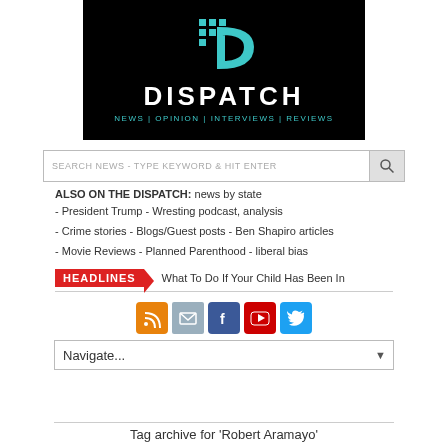[Figure (logo): Dispatch news logo — black background with teal 'D' icon, white DISPATCH text, teal tagline NEWS | OPINION | INTERVIEWS | REVIEWS]
SEARCH NEWS - TYPE KEYWORD & HIT ENTER
ALSO ON THE DISPATCH: news by state
- President Trump - Wresting podcast, analysis
- Crime stories - Blogs/Guest posts - Ben Shapiro articles
- Movie Reviews - Planned Parenthood - liberal bias
HEADLINES  What To Do If Your Child Has Been In
[Figure (illustration): Social media icons: RSS (orange), Email (grey), Facebook (blue), YouTube (red), Twitter (blue)]
Navigate...
Tag archive for 'Robert Aramayo'